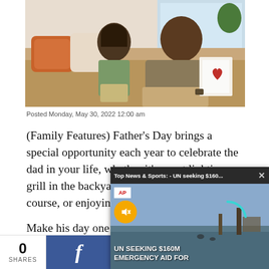[Figure (photo): A father and child sitting on a bed, the child presenting a handmade card with a red heart to the father who is smiling and reading it.]
Posted Monday, May 30, 2022 12:00 am
(Family Features) Father’s Day brings a special opportunity each year to celebrate the dad in your life, whether it’s spent lighting a grill in the backyard, heading to the golf co… Make his day one to r… activities and giving …
From home chefs and… and sports fans, these…
[Figure (screenshot): A video overlay popup with title 'Top News & Sports: - UN seeking $160...' with an AP logo, mute button, and text 'UN SEEKING $160M EMERGENCY AID FOR' over a flood scene.]
0
SHARES